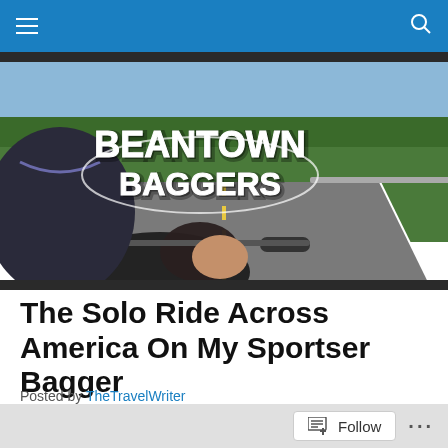Navigation bar with hamburger menu and search icon
[Figure (photo): Beantown Baggers banner photo: motorcycle rider's POV on a mountain highway with 'Beantown Baggers' logo overlaid in white graffiti-style lettering. Green forested hills and guardrail visible.]
The Solo Ride Across America On My Sportser Bagger
Posted by TheTravelWriter
We preface this documentary with a reader however if you
Follow  ...